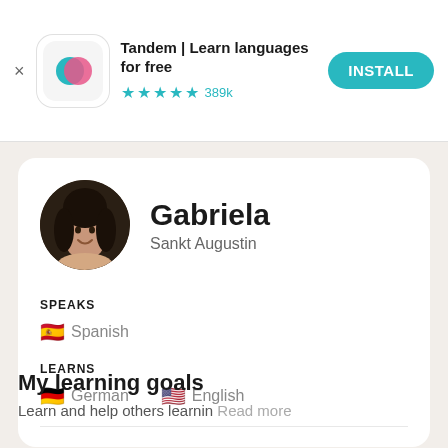[Figure (screenshot): Tandem app install banner with logo, star rating, and install button]
Tandem | Learn languages for free
★★★★½ 389k
INSTALL
[Figure (photo): Circular profile photo of Gabriela, a woman with long dark hair, smiling]
Gabriela
Sankt Augustin
SPEAKS
🇪🇸 Spanish
LEARNS
🇩🇪 German  🇺🇸 English
My learning goals
Learn and help others learnin  Read more